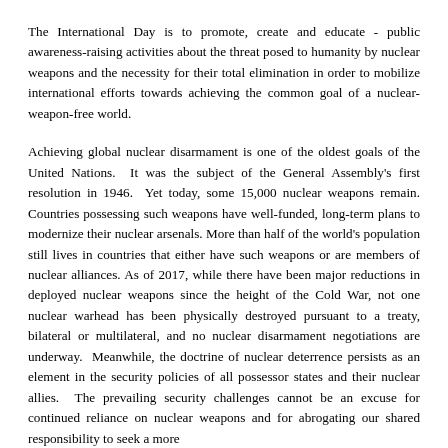The International Day is to promote, create and educate - public awareness-raising activities about the threat posed to humanity by nuclear weapons and the necessity for their total elimination in order to mobilize international efforts towards achieving the common goal of a nuclear-weapon-free world.
Achieving global nuclear disarmament is one of the oldest goals of the United Nations. It was the subject of the General Assembly's first resolution in 1946. Yet today, some 15,000 nuclear weapons remain. Countries possessing such weapons have well-funded, long-term plans to modernize their nuclear arsenals. More than half of the world's population still lives in countries that either have such weapons or are members of nuclear alliances. As of 2017, while there have been major reductions in deployed nuclear weapons since the height of the Cold War, not one nuclear warhead has been physically destroyed pursuant to a treaty, bilateral or multilateral, and no nuclear disarmament negotiations are underway. Meanwhile, the doctrine of nuclear deterrence persists as an element in the security policies of all possessor states and their nuclear allies. The prevailing security challenges cannot be an excuse for continued reliance on nuclear weapons and for abrogating our shared responsibility to seek a more